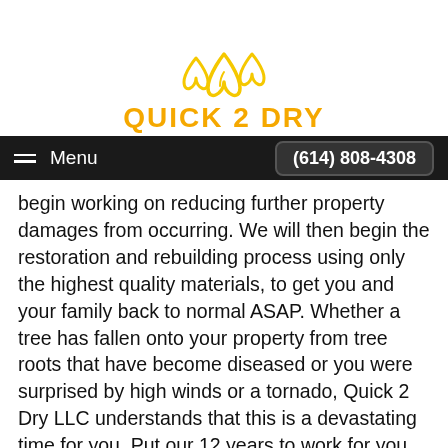[Figure (logo): Quick 2 Dry logo: three water drop outlines in yellow/orange above the text 'QUICK 2 DRY' in bold orange uppercase letters]
Menu  (614) 808-4308
begin working on reducing further property damages from occurring. We will then begin the restoration and rebuilding process using only the highest quality materials, to get you and your family back to normal ASAP. Whether a tree has fallen onto your property from tree roots that have become diseased or you were surprised by high winds or a tornado, Quick 2 Dry LLC understands that this is a devastating time for you. Put our 12 years to work for you and call the Whitehall tree damage restoration team who cares to get you back to normal as quickly and as hassle free as possible! Call (614) 808-4308, and leave the rest to Quick 2 Dry LLC.